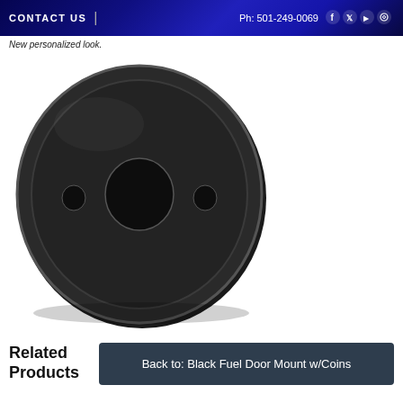CONTACT US | Ph: 501-249-0069
New personalized look.
[Figure (photo): Black circular fuel door mount plate with three holes - one large central hole and two smaller mounting holes on either side, photographed against a white background.]
Related Products
Back to: Black Fuel Door Mount w/Coins